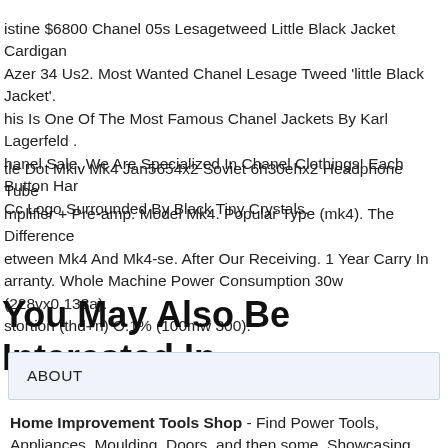istine $6800 Chanel 05s Lesagetweed Little Black Jacket Cardigan Azer 34 Us2. Most Wanted Chanel Lesage Tweed 'little Black Jacket'. his Is One Of The Most Famous Chanel Jackets By Karl Lagerfeld . hanel Sale. We Are Specialized In Chanel Clothings! Each Button Has Cc Logo Surrounded By Black Tiny Crystals.
tle Dot Mkiv Mk4 Jan5654x2 Soviet 6h30ehx2 Headphone Tube mplifier + Pre-amp. Model Mk4. Popular Type (mk4). The Difference etween Mk4 And Mk4-se. After Our Receiving. 1 Year Carry In arranty. Whole Machine Power Consumption 30w (228vx0.133a). stortion (thd+n) O.1% (100mw 300).
You May Also Be Interested In
ABOUT
Home Improvement Tools Shop - Find Power Tools, Appliances, Moulding, Doors, and then some. Showcasing